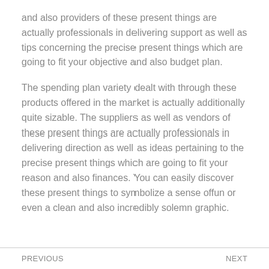and also providers of these present things are actually professionals in delivering support as well as tips concerning the precise present things which are going to fit your objective and also budget plan.
The spending plan variety dealt with through these products offered in the market is actually additionally quite sizable. The suppliers as well as vendors of these present things are actually professionals in delivering direction as well as ideas pertaining to the precise present things which are going to fit your reason and also finances. You can easily discover these present things to symbolize a sense offun or even a clean and also incredibly solemn graphic.
PREVIOUS    NEXT